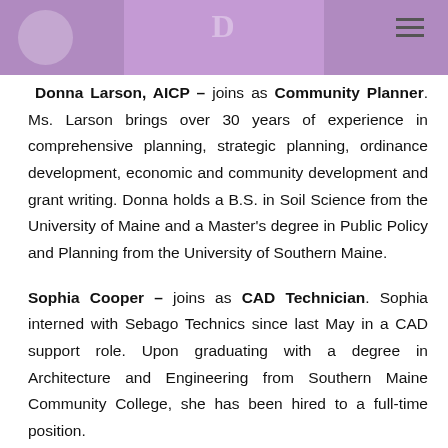[Figure (photo): Purple/lavender colored photo strip at top of page showing partial view of a person in purple clothing with a tie, overlaid with partial logo and text]
Donna Larson, AICP – joins as Community Planner. Ms. Larson brings over 30 years of experience in comprehensive planning, strategic planning, ordinance development, economic and community development and grant writing. Donna holds a B.S. in Soil Science from the University of Maine and a Master's degree in Public Policy and Planning from the University of Southern Maine.
Sophia Cooper – joins as CAD Technician. Sophia interned with Sebago Technics since last May in a CAD support role. Upon graduating with a degree in Architecture and Engineering from Southern Maine Community College, she has been hired to a full-time position.